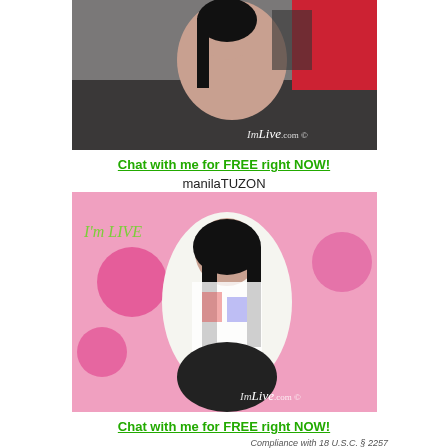[Figure (photo): Photo of a woman posing on a dark surface with ImLive.com watermark]
Chat with me for FREE right NOW!
manilaTUZON
[Figure (photo): Photo of a woman posing with pink background and 'I'm LIVE' text, ImLive.com watermark]
Chat with me for FREE right NOW!
Compliance with 18 U.S.C. § 2257
Recent Posts
BDSM live tranny dominatrix